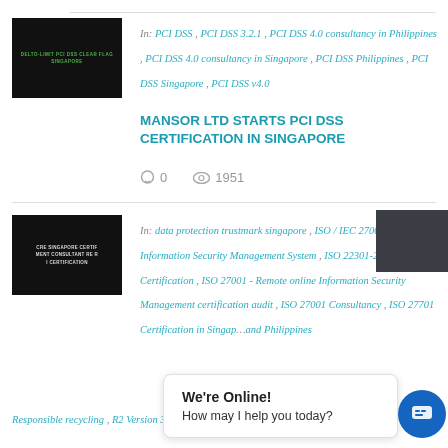[Figure (illustration): Dark thumbnail image with green text for PCI DSS article]
In: PCI DSS , PCI DSS 3.2.1 , PCI DSS 4.0 consultancy in Philippines , PCI DSS 4.0 consultancy in Singapore , PCI DSS Philippines , PCI DSS Singapore , PCI DSS v4.0
MANSOR LTD STARTS PCI DSS CERTIFICATION IN SINGAPORE
0   1951
[Figure (illustration): Dark thumbnail image with white text for ISO/IEC article]
In: data protection trustmark singapore , ISO / IEC 27001 - Information Security Management System , ISO 22301-2019 Certification , ISO 27001 - Remote online Information Security Management certification audit , ISO 27001 Consultancy , ISO 27701 Certification in Singapore , and Philippines , Responsible recycling , R2 Version 3